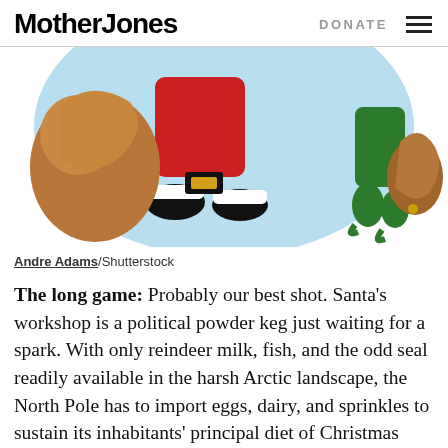Mother Jones | DONATE
[Figure (illustration): Cartoon illustration of Santa Claus upside-down with legs in the air, wearing red pants and black boots, holding a brown sack, with a cartoon elf visible on the right side, on a light blue circular background.]
Andre Adams/Shutterstock
The long game: Probably our best shot. Santa's workshop is a political powder keg just waiting for a spark. With only reindeer milk, fish, and the odd seal readily available in the harsh Arctic landscape, the North Pole has to import eggs, dairy, and sprinkles to sustain its inhabitants' principal diet of Christmas cookies. Elves also consume enormous quantities of maple syrup, which must be imported from the